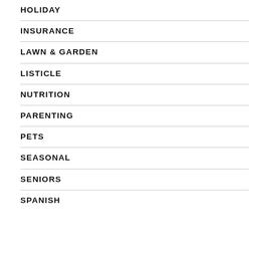HOLIDAY
INSURANCE
LAWN & GARDEN
LISTICLE
NUTRITION
PARENTING
PETS
SEASONAL
SENIORS
SPANISH